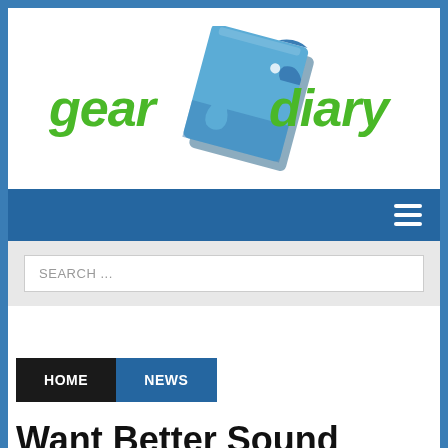[Figure (logo): Gear Diary logo with blue notebook/folder graphic and green stylized text reading 'gear diary']
[Figure (screenshot): Navigation bar with dark blue background and white hamburger menu icon on right]
[Figure (screenshot): Search bar with light gray background containing a white search input field with placeholder text 'SEARCH ...']
HOME
NEWS
Want Better Sound